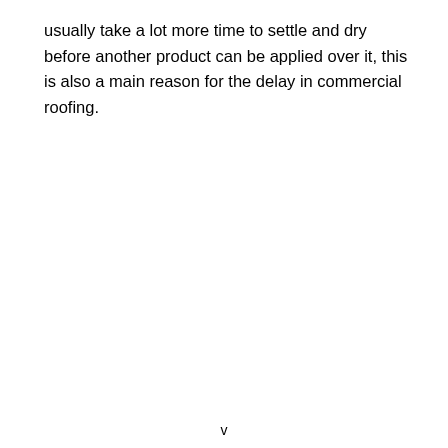usually take a lot more time to settle and dry before another product can be applied over it, this is also a main reason for the delay in commercial roofing.
v